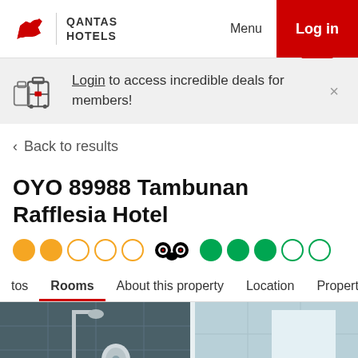QANTAS HOTELS | Menu | Log in
Login to access incredible deals for members!
< Back to results
OYO 89988 Tambunan Rafflesia Hotel
[Figure (other): Star rating: 2 filled gold circles, 3 empty gold circles. TripAdvisor logo followed by 3 filled green circles, 1 half green circle, 1 empty green circle.]
tos  Rooms  About this property  Location  Property p
[Figure (photo): Hotel bathroom photo showing dark grey tile walls with shower fixture and water heater unit, white walls visible.]